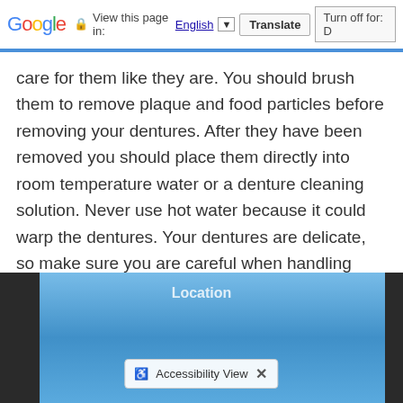Google | View this page in: English [▼] | Translate | Turn off for: D
care for them like they are. You should brush them to remove plaque and food particles before removing your dentures. After they have been removed you should place them directly into room temperature water or a denture cleaning solution. Never use hot water because it could warp the dentures. Your dentures are delicate, so make sure you are careful when handling them so you don't drop them. Also, never try to adjust your dentures yourself. You could ruin them, so you should always seek assistance from your dentist if they feel uncomfortable or loose.
Location  ♿ Accessibility View  ✕